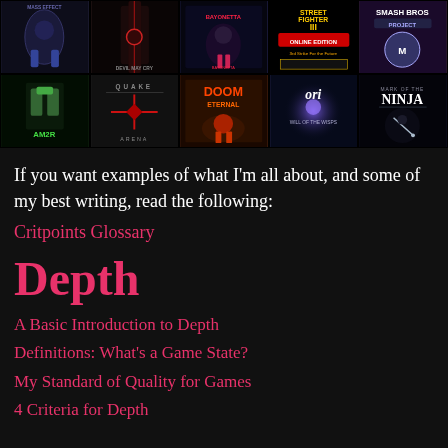[Figure (photo): Grid of 10 video game covers arranged in 2 rows of 5: Row 1: unnamed dark sci-fi game, unnamed dark shooter, unnamed blue action game, Street Fighter III Online Edition, Smash Bros Project. Row 2: AM2R, Quake Arena, Doom Eternal, Ori and the Will of the Wisps, Mark of the Ninja.]
If you want examples of what I'm all about, and some of my best writing, read the following:
Critpoints Glossary
Depth
A Basic Introduction to Depth
Definitions: What's a Game State?
My Standard of Quality for Games
4 Criteria for Depth